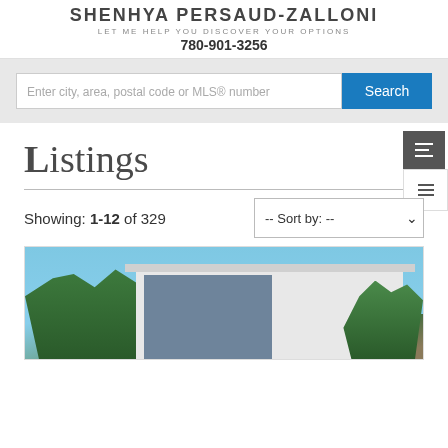SHENHYA PERSAUD-ZALLONI
LET ME HELP YOU DISCOVER YOUR OPTIONS
780-901-3256
Enter city, area, postal code or MLS® number
Listings
Showing: 1-12 of 329
[Figure (photo): Exterior photo of a modern house with floor-to-ceiling glass windows, white roofline overhang, surrounded by trees against a blue sky]
-- Sort by: --